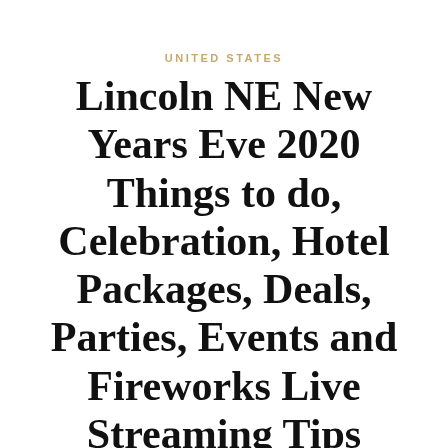UNITED STATES
Lincoln NE New Years Eve 2020 Things to do, Celebration, Hotel Packages, Deals, Parties, Events and Fireworks Live Streaming Tips
May 28, 2022
Lincoln NE New Years Eve 2020 Things to do, Celebration, Hotel Packages, Deals, Parties, Events and Fireworks Live